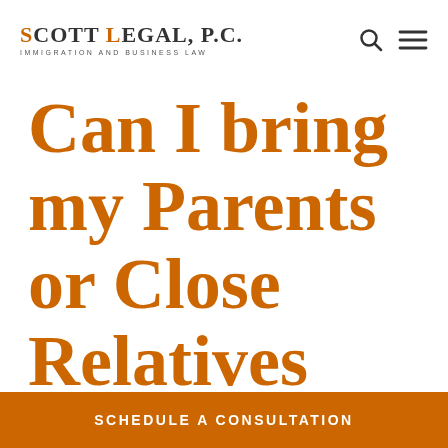SCOTT LEGAL, P.C. IMMIGRATION AND BUSINESS LAW
Can I bring my Parents or Close Relatives with me to
SCHEDULE A CONSULTATION